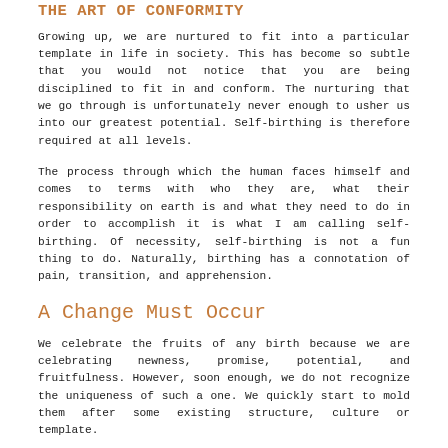THE ART OF CONFORMITY
Growing up, we are nurtured to fit into a particular template in life in society. This has become so subtle that you would not notice that you are being disciplined to fit in and conform. The nurturing that we go through is unfortunately never enough to usher us into our greatest potential. Self-birthing is therefore required at all levels.
The process through which the human faces himself and comes to terms with who they are, what their responsibility on earth is and what they need to do in order to accomplish it is what I am calling self-birthing. Of necessity, self-birthing is not a fun thing to do. Naturally, birthing has a connotation of pain, transition, and apprehension.
A Change Must Occur
We celebrate the fruits of any birth because we are celebrating newness, promise, potential, and fruitfulness. However, soon enough, we do not recognize the uniqueness of such a one. We quickly start to mold them after some existing structure, culture or template.
Unless the single soul snaps out of the "life assembly process"